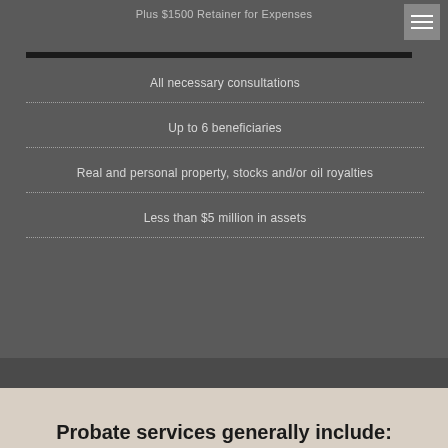Plus $1500 Retainer for Expenses
All necessary consultations
Up to 6 beneficiaries
Real and personal property, stocks and/or oil royalties
Less than $5 million in assets
Probate services generally include: